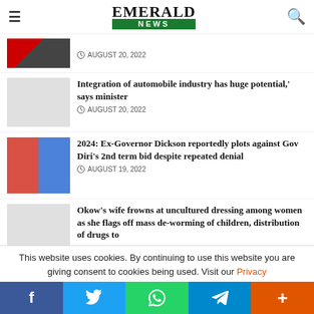EMERALD NEWS
AUGUST 20, 2022
Integration of automobile industry has huge potential,' says minister
AUGUST 20, 2022
2024: Ex-Governor Dickson reportedly plots against Gov Diri's 2nd term bid despite repeated denial
AUGUST 19, 2022
Okow's wife frowns at uncultured dressing among women as she flags off mass de-worming of children, distribution of drugs to
This website uses cookies. By continuing to use this website you are giving consent to cookies being used. Visit our Privacy